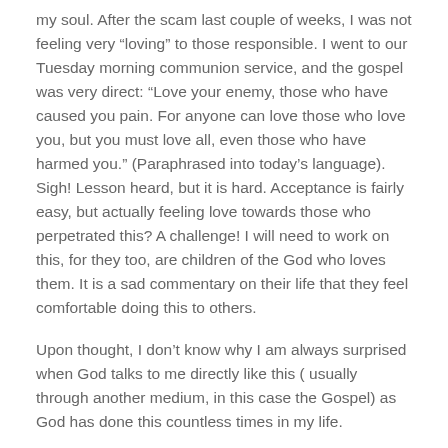my soul. After the scam last couple of weeks, I was not feeling very “loving” to those responsible. I went to our Tuesday morning communion service, and the gospel was very direct: “Love your enemy, those who have caused you pain. For anyone can love those who love you, but you must love all, even those who have harmed you.” (Paraphrased into today’s language). Sigh! Lesson heard, but it is hard. Acceptance is fairly easy, but actually feeling love towards those who perpetrated this? A challenge! I will need to work on this, for they too, are children of the God who loves them. It is a sad commentary on their life that they feel comfortable doing this to others.
Upon thought, I don’t know why I am always surprised when God talks to me directly like this ( usually through another medium, in this case the Gospel) as God has done this countless times in my life.
Meditation